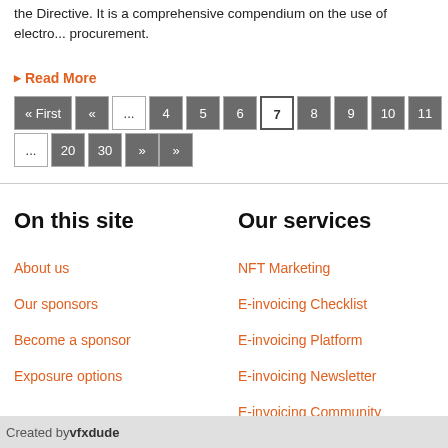the Directive. It is a comprehensive compendium on the use of electro... procurement.
Read More
« First  «  ...  4  5  6  7  8  9  10  11  ...  20  30  »
On this site
About us
Our sponsors
Become a sponsor
Exposure options
Our services
NFT Marketing
E-invoicing Checklist
E-invoicing Platform
E-invoicing Newsletter
E-invoicing Community
Created by vfxdude